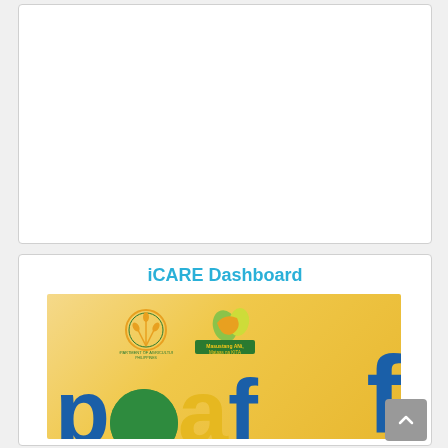[Figure (other): White empty box/panel area at top of page]
iCARE Dashboard
[Figure (screenshot): iCARE Dashboard panel showing Department of Agriculture Philippines logos (DA circular seal and BAS/ATI logo with text 'Masustang ANi, Mataas na KITA') on a golden/yellow gradient background with large colorful block letters spelling out part of 'pcaf' in blue, green, yellow and blue colors. A scroll-up arrow button appears at bottom right.]